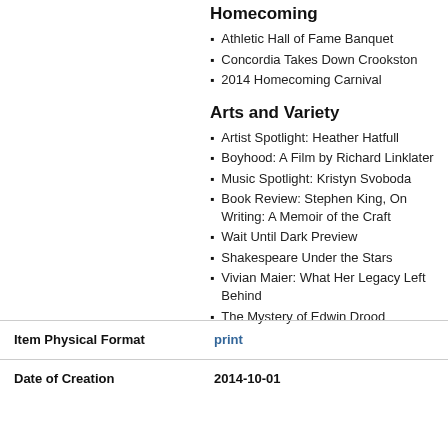Homecoming
Athletic Hall of Fame Banquet
Concordia Takes Down Crookston
2014 Homecoming Carnival
Arts and Variety
Artist Spotlight: Heather Hatfull
Boyhood: A Film by Richard Linklater
Music Spotlight: Kristyn Svoboda
Book Review: Stephen King, On Writing: A Memoir of the Craft
Wait Until Dark Preview
Shakespeare Under the Stars
Vivian Maier: What Her Legacy Left Behind
The Mystery of Edwin Drood
| Field | Value |
| --- | --- |
| Item Physical Format | print |
| Date of Creation | 2014-10-01 |